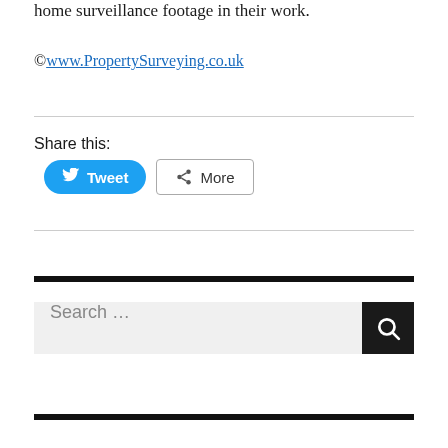home surveillance footage in their work.
©www.PropertySurveying.co.uk
Share this:
[Figure (other): Tweet and More share buttons]
[Figure (other): Search bar with text input field and search button]